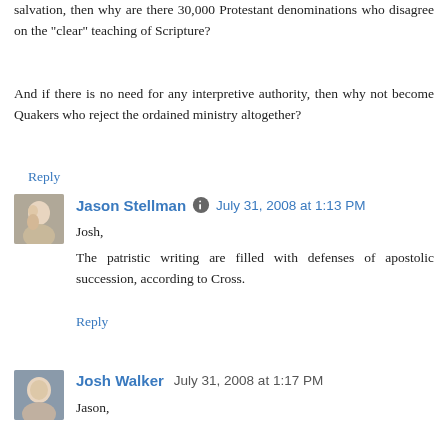salvation, then why are there 30,000 Protestant denominations who disagree on the "clear" teaching of Scripture?
And if there is no need for any interpretive authority, then why not become Quakers who reject the ordained ministry altogether?
Reply
Jason Stellman  July 31, 2008 at 1:13 PM
Josh,
The patristic writing are filled with defenses of apostolic succession, according to Cross.
Reply
Josh Walker  July 31, 2008 at 1:17 PM
Jason,